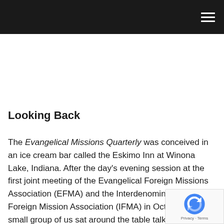Navigation menu
Looking Back
The Evangelical Missions Quarterly was conceived in an ice cream bar called the Eskimo Inn at Winona Lake, Indiana. After the day's evening session at the first joint meeting of the Evangelical Foreign Missions Association (EFMA) and the Interdenominational Foreign Mission Association (IFMA) in October 1... small group of us sat around the table talking about what we would like to see as lasting outcomes of this